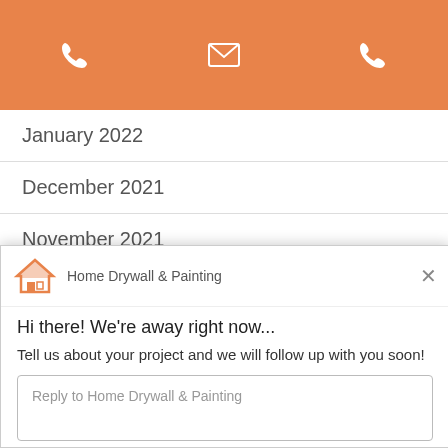[Figure (other): Orange header bar with phone icon, envelope/mail icon, and phone icon in white on orange background]
January 2022
December 2021
November 2021
October 2021
September 2021
August 2021
July 2021
June 2021
May 2021
[Figure (screenshot): Chat widget overlay showing Home Drywall & Painting logo and name, close X button, greeting 'Hi there! We're away right now...', message 'Tell us about your project and we will follow up with you soon!', and a reply text input box saying 'Reply to Home Drywall & Painting']